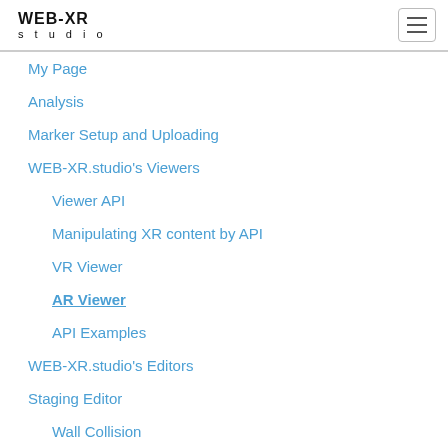WEB-XR studio
My Page
Analysis
Marker Setup and Uploading
WEB-XR.studio's Viewers
Viewer API
Manipulating XR content by API
VR Viewer
AR Viewer
API Examples
WEB-XR.studio's Editors
Staging Editor
Wall Collision
Lighting